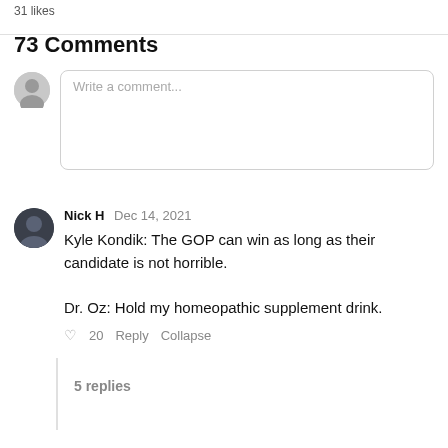31 likes
73 Comments
Write a comment...
Nick H  Dec 14, 2021
Kyle Kondik: The GOP can win as long as their candidate is not horrible.

Dr. Oz: Hold my homeopathic supplement drink.
♡ 20  Reply  Collapse
5 replies